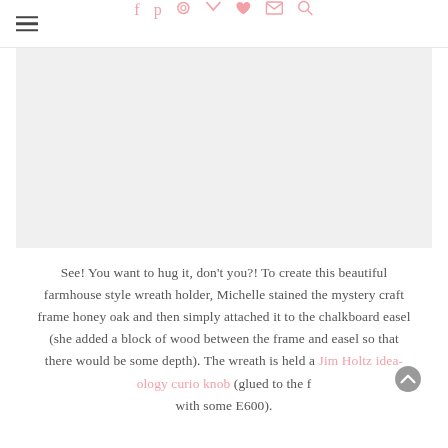≡  f  p  ○  ✓  ♥  ✉  🔍
[Figure (photo): Blank/empty image placeholder area for a farmhouse style wreath holder photo]
See! You want to hug it, don't you?! To create this beautiful farmhouse style wreath holder, Michelle stained the mystery craft frame honey oak and then simply attached it to the chalkboard easel (she added a block of wood between the frame and easel so that there would be some depth). The wreath is held a Jim Holtz idea-ology curio knob (glued to the f with some E600).